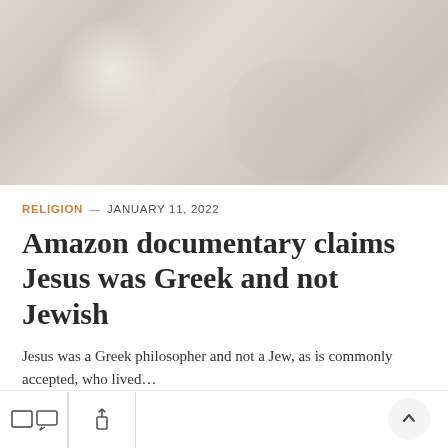[Figure (photo): Blurred/out-of-focus hero image with warm beige and grey tones, abstract background]
RELIGION — JANUARY 11, 2022
Amazon documentary claims Jesus was Greek and not Jewish
Jesus was a Greek philosopher and not a Jew, as is commonly accepted, who lived…